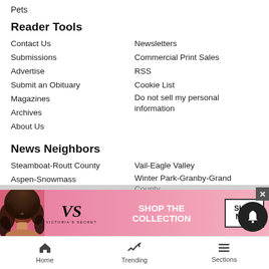Pets
Reader Tools
Contact Us
Newsletters
Submissions
Commercial Print Sales
Advertise
RSS
Submit an Obituary
Cookie List
Magazines
Do not sell my personal information
Archives
About Us
News Neighbors
Steamboat-Routt County
Vail-Eagle Valley
Aspen-Snowmass
Winter Park-Granby-Grand County
Glenwood Springs-Rifle
Park City-Utah
Printing Press Jobs
Summit County
[Figure (illustration): Victoria's Secret advertisement banner with model photo, VS logo, 'SHOP THE COLLECTION' text, and SHOP NOW button]
Home   Trending   Sections